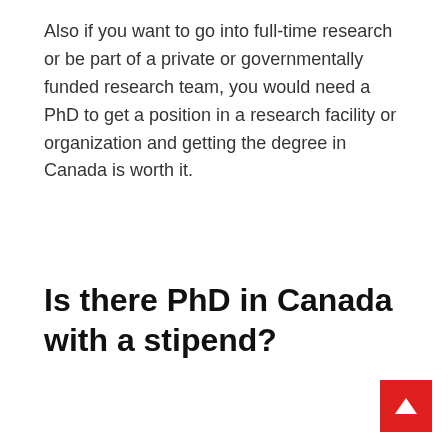Also if you want to go into full-time research or be part of a private or governmentally funded research team, you would need a PhD to get a position in a research facility or organization and getting the degree in Canada is worth it.
Is there PhD in Canada with a stipend?